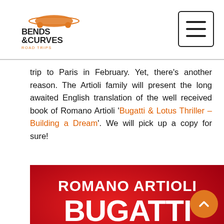Bends & Curves Road Trips logo and navigation
trip to Paris in February. Yet, there's another reason. The Artioli family will present the long awaited English translation of the well received book of Romano Artioli 'Bugatti & Lotus Thriller – Building a Dream'. We will pick up a copy for sure!
[Figure (photo): Book cover of Romano Artioli 'Bugatti & Lotus Thriller' - red background with large white bold text reading ROMANO ARTIOLI BUGATTI & LOTUS THRILLER]